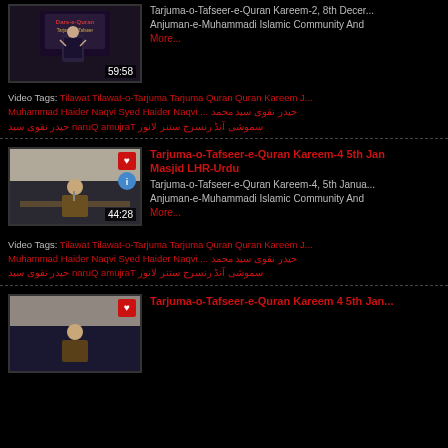[Figure (screenshot): Video thumbnail showing a speaker in front of a screen with text 'Dars-e-Quran Tarjama-o-Tafseer', duration 59:58]
Tarjuma-o-Tafseer-e-Quran Kareem-2, 8th December Anjuman-e-Muhammadi Islamic Community And More...
Video Tags: Tilawat Tilawat-o-Tarjuma Tarjuma Quran Quran Kareem J... Muhammad Haider Naqvi Syed Haider Naqvi حیدر نقوی سید محمد ... حیدر نقوی سید Tarjuma Quran لانور ستنر رنسرج آنڈ سموشی
[Figure (screenshot): Video thumbnail showing a speaker at a podium, duration 44:28]
Tarjuma-o-Tafseer-e-Quran Kareem-4 5th Jan Masjid LHR-Urdu
Tarjuma-o-Tafseer-e-Quran Kareem-4, 5th January Anjuman-e-Muhammadi Islamic Community And More...
Video Tags: Tilawat Tilawat-o-Tarjuma Tarjuma Quran Quran Kareem J... Muhammad Haider Naqvi Syed Haider Naqvi حیدر نقوی سید محمد ... حیدر نقوی سید Tarjuma Quran لانور ستنر رنسرج آنڈ سموشی
Tarjuma-o-Tafseer-e-Quran Kareem 4 5th Jan...